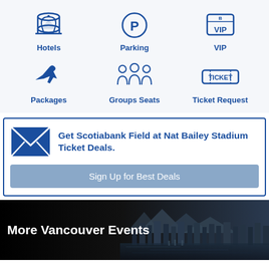[Figure (infographic): Six icon navigation items in two rows: Hotels (bell/concierge icon), Parking (P icon), VIP (badge icon), Packages (airplane icon), Groups Seats (group of people icon), Ticket Request (ticket icon), all in blue on light gray background]
Get Scotiabank Field at Nat Bailey Stadium Ticket Deals.
Sign Up for Best Deals
More Vancouver Events
[Figure (photo): Aerial cityscape photo of Vancouver showing waterfront, buildings, and mountains in background, dark-toned]